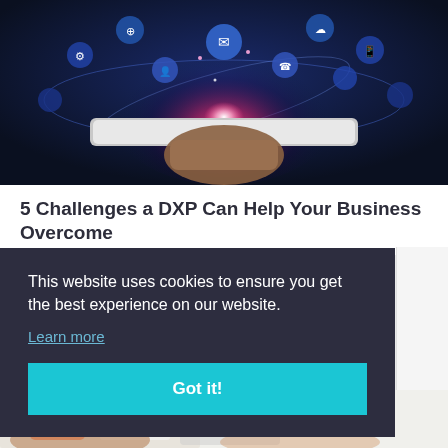[Figure (photo): Hand holding a tablet device from below with glowing digital icons and network nodes floating above it against a dark blue background. Pink/magenta light emanates from the center with circular orbital rings and various app icons around them.]
5 Challenges a DXP Can Help Your Business Overcome
This website uses cookies to ensure you get the best experience on our website.
Learn more
Got it!
[Figure (photo): Partial view of a person using a smartphone and tablet, showing hands and devices at the bottom of the page.]